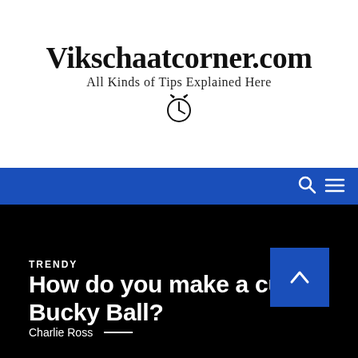Vikschaatcorner.com
All Kinds of Tips Explained Here
[Figure (illustration): Clock/alarm icon]
Navigation bar with search and menu icons
TRENDY
How do you make a cube Bucky Ball?
Charlie Ross —